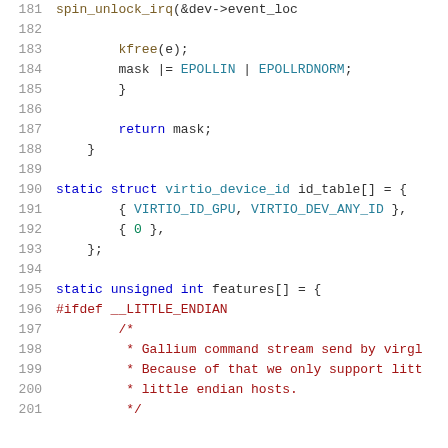[Figure (screenshot): Source code snippet showing C kernel code lines 181-201 with syntax highlighting. Lines include spin_unlock_irq, kfree, mask assignments, return statement, closing braces, id_table struct definition, features array declaration, and a #ifdef __LITTLE_ENDIAN block with comments about Gallium command stream and little endian hosts.]